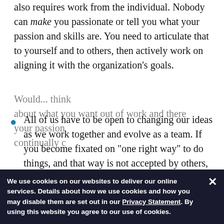also requires work from the individual. Nobody can make you passionate or tell you what your passion and skills are. You need to articulate that to yourself and to others, then actively work on aligning it with the organization's goals.
All of us have to be open to changing our ideas as we work together and evolve as a team. If you become fixated on "one right way" to do things, and that way is not accepted by others, then you won't be happy.
Would... think ...about what you want out of work and there your passion... continually...
We use cookies on our websites to deliver our online services. Details about how we use cookies and how you may disable them are set out in our Privacy Statement. By using this website you agree to our use of cookies.